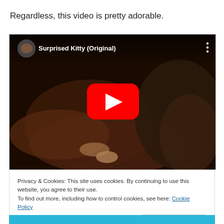Regardless, this video is pretty adorable.
[Figure (screenshot): Embedded YouTube video thumbnail showing 'Surprised Kitty (Original)' with a red play button overlay, dark background with hands petting a cat]
Privacy & Cookies: This site uses cookies. By continuing to use this website, you agree to their use.
To find out more, including how to control cookies, see here: Cookie Policy
Close and accept